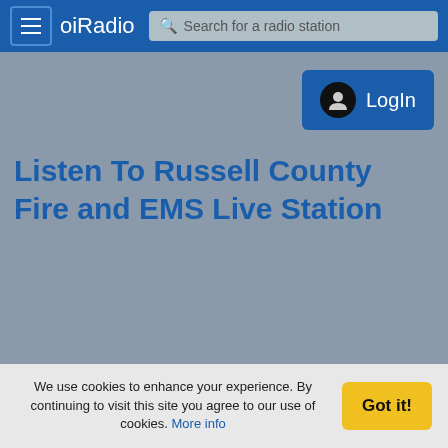oiRadio — Search for a radio station
[Figure (screenshot): Login button with user icon and 'LogIn' text on blue background]
Listen To Russell County Fire and EMS Live Station
We use cookies to enhance your experience. By continuing to visit this site you agree to our use of cookies. More info